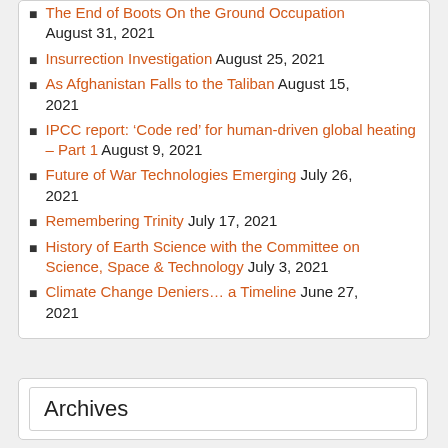The End of Boots On the Ground Occupation August 31, 2021
Insurrection Investigation August 25, 2021
As Afghanistan Falls to the Taliban August 15, 2021
IPCC report: ‘Code red’ for human-driven global heating – Part 1 August 9, 2021
Future of War Technologies Emerging July 26, 2021
Remembering Trinity July 17, 2021
History of Earth Science with the Committee on Science, Space & Technology July 3, 2021
Climate Change Deniers… a Timeline June 27, 2021
Archives